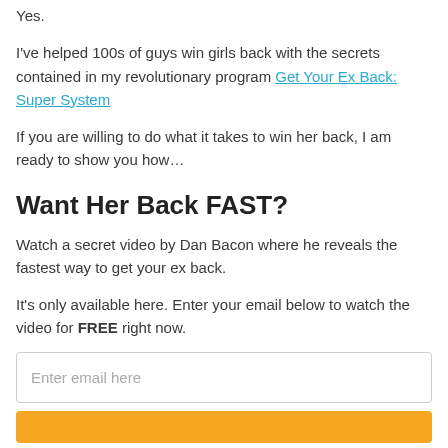Yes.
I've helped 100s of guys win girls back with the secrets contained in my revolutionary program Get Your Ex Back: Super System
If you are willing to do what it takes to win her back, I am ready to show you how…
Want Her Back FAST?
Watch a secret video by Dan Bacon where he reveals the fastest way to get your ex back.
It's only available here. Enter your email below to watch the video for FREE right now.
Enter email here